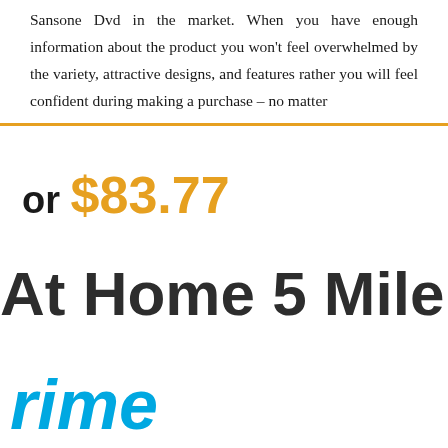Sansone Dvd in the market. When you have enough information about the product you won't feel overwhelmed by the variety, attractive designs, and features rather you will feel confident during making a purchase – no matter
or $83.77
At Home 5 Mile Wa
rime